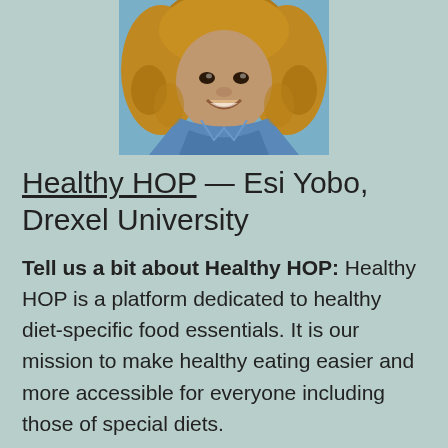[Figure (photo): Headshot photo of a woman with curly blonde/brown hair smiling, wearing a denim shirt, against a blue background]
Healthy HOP — Esi Yobo, Drexel University
Tell us a bit about Healthy HOP: Healthy HOP is a platform dedicated to healthy diet-specific food essentials. It is our mission to make healthy eating easier and more accessible for everyone including those of special diets.
What's one thing FFT helped you with: